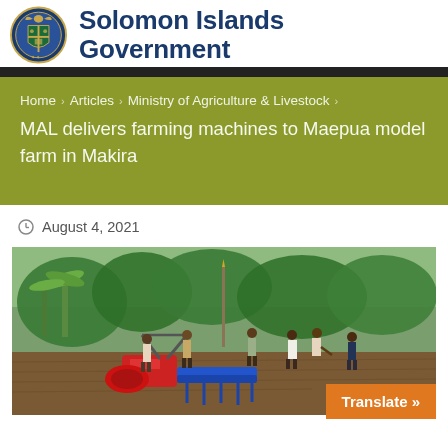Solomon Islands Government
Home > Articles > Ministry of Agriculture & Livestock > MAL delivers farming machines to Maepua model farm in Makira
August 4, 2021
[Figure (photo): People working in a field with farming machinery (red and blue tiller/cultivator), surrounded by tropical vegetation including banana trees and other greenery. Several men are gathered around the machine on brown tilled soil.]